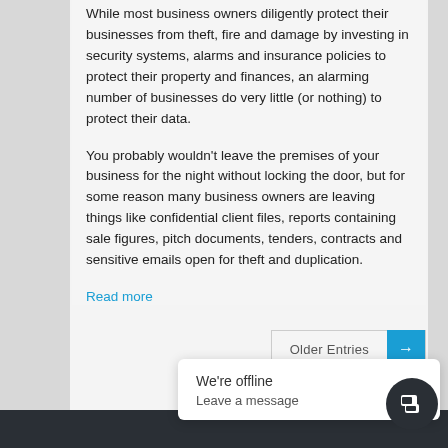While most business owners diligently protect their businesses from theft, fire and damage by investing in security systems, alarms and insurance policies to protect their property and finances, an alarming number of businesses do very little (or nothing) to protect their data.
You probably wouldn't leave the premises of your business for the night without locking the door, but for some reason many business owners are leaving things like confidential client files, reports containing sale figures, pitch documents, tenders, contracts and sensitive emails open for theft and duplication.
Read more
Older Entries →
We're offline
Leave a message